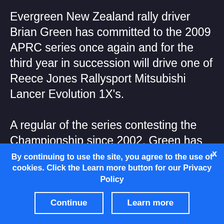Evergreen New Zealand rally driver Brian Green has committed to the 2009 APRC series once again and for the third year in succession will drive one of Reece Jones Rallysport Mitsubishi Lancer Evolution 1X's.

A regular of the series contesting the Championship since 2002, Green has entered the Pacific Cup and will once again finish his 2009 campaign in China with Fan Fan's Wan Yu Rally Team. Regular co driver Fleur Pedersen is unavailable for the series first event in New
By continuing to use the site, you agree to the use of cookies. Click the Learn more button for our Privacy Policy
Continue
Learn more